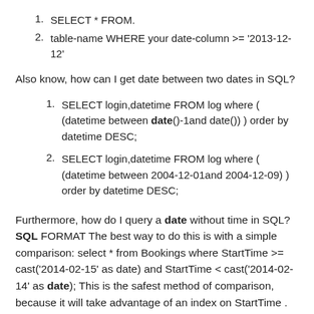1. SELECT * FROM.
2. table-name WHERE your date-column >= '2013-12-12'
Also know, how can I get date between two dates in SQL?
1. SELECT login,datetime FROM log where ( (datetime between date()-1and date()) ) order by datetime DESC;
2. SELECT login,datetime FROM log where ( (datetime between 2004-12-01and 2004-12-09) ) order by datetime DESC;
Furthermore, how do I query a date without time in SQL? SQL FORMAT The best way to do this is with a simple comparison: select * from Bookings where StartTime >= cast('2014-02-15' as date) and StartTime < cast('2014-02-14' as date); This is the safest method of comparison, because it will take advantage of an index on StartTime . This property is called